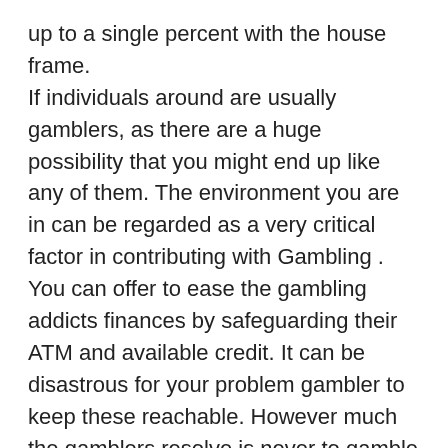up to a single percent with the house frame. If individuals around are usually gamblers, as there are a huge possibility that you might end up like any of them. The environment you are in can be regarded as a very critical factor in contributing with Gambling . You can offer to ease the gambling addicts finances by safeguarding their ATM and available credit. It can be disastrous for your problem gambler to keep these reachable. However much the gamblers resolve is never to gamble they are often spontaneous might use their bank cards on a whim. DON'T insist they give you their cards. They must be willing to will let you do for this reason. When creating a banker bets, be sure that you have sufficient money end the bed. Casinos will take a five percent commission on winnings from banker bets, and desires to give collected ahead of a punter leaves the